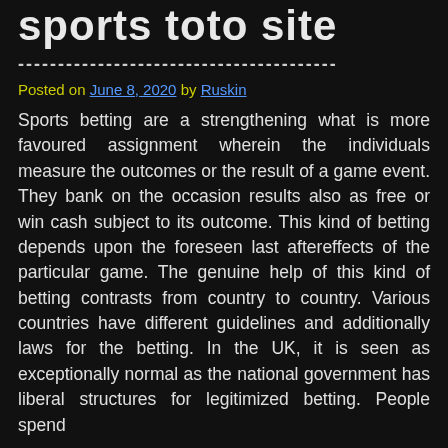sports toto site
Posted on June 8, 2020 by Ruskin
Sports betting are a strengthening what is more favoured assignment wherein the individuals measure the outcomes or the result of a game event. They bank on the occasion results also as free or win cash subject to its outcome. This kind of betting depends upon the foreseen last aftereffects of the particular game. The genuine help of this kind of betting contrasts from country to country. Various countries have different guidelines and additionally laws for the betting. In the UK, it is seen as exceptionally normal as the national government has liberal structures for legitimized betting. People spend